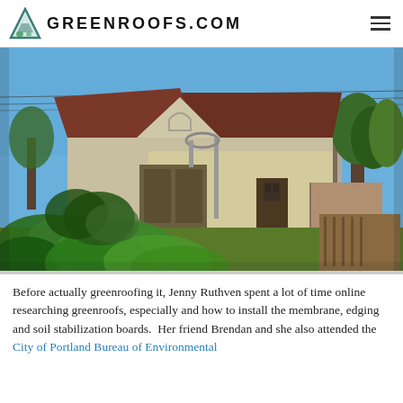GREENROOFS.COM
[Figure (photo): Exterior photo of a small building with a steeply pitched dark brown/maroon roof and light tan/cream stucco walls, surrounded by lush garden vegetation including large-leafed plants in the foreground. Blue sky visible in the background along with trees and neighboring houses. A utility pole and power lines are visible on the right side.]
Before actually greenroofing it, Jenny Ruthven spent a lot of time online researching greenroofs, especially and how to install the membrane, edging and soil stabilization boards.  Her friend Brendan and she also attended the City of Portland Bureau of Environmental